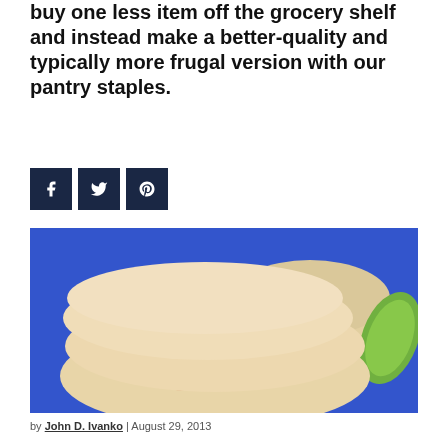buy one less item off the grocery shelf and instead make a better-quality and typically more frugal version with our pantry staples.
[Figure (photo): Flatbreads or pita-style round breads with speckled red/orange spots stacked on a blue plate, with a lime wedge in the background]
by John D. Ivanko | August 29, 2013